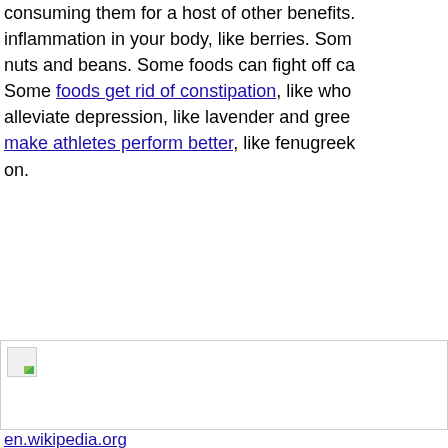consuming them for a host of other benefits. inflammation in your body, like berries. Some nuts and beans. Some foods can fight off ca... Some foods get rid of constipation, like who... alleviate depression, like lavender and gree... make athletes perform better, like fenugreek on.
[Figure (photo): A broken/missing image placeholder with a small image icon in the top-left corner, inside a bordered rectangle.]
en.wikipedia.org